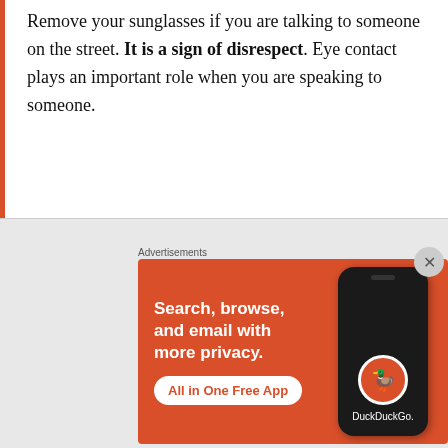Remove your sunglasses if you are talking to someone on the street. It is a sign of disrespect. Eye contact plays an important role when you are speaking to someone.
If a colleague tells you that he has a doctor's appointment, don't try to get the details of it. You can simply
Advertisements
[Figure (other): DuckDuckGo advertisement banner with orange background, showing phone mockup. Text: 'Search, browse, and email with more privacy. All in One Free App'. DuckDuckGo logo and branding visible.]